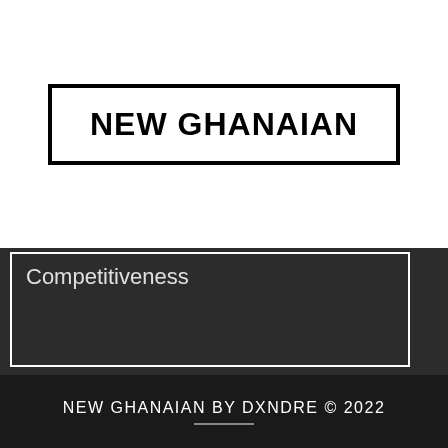[Figure (logo): NEW GHANAIAN logo in bold black text inside a thick black rectangular border on white background]
Competitiveness
NEW GHANAIAN BY DXNDRE © 2022